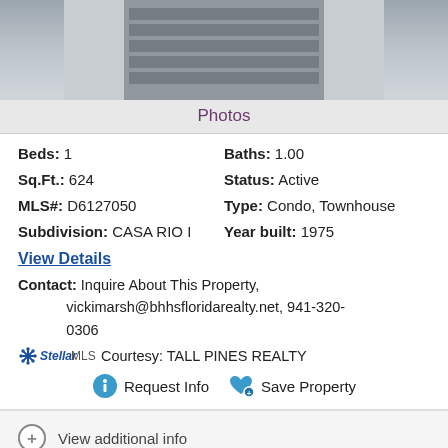[Figure (photo): Partial photo of a room showing window blinds or ventilation slat detail, gray tones]
Photos
Beds: 1    Baths: 1.00
Sq.Ft.: 624    Status: Active
MLS#: D6127050    Type: Condo, Townhouse
Subdivision: CASA RIO I    Year built: 1975
View Details
Contact: Inquire About This Property, vickimarsh@bhhsfloridarealty.net, 941-320-0306
Stellar MLS Courtesy: TALL PINES REALTY
Request Info   Save Property
View additional info
$430,000
2450 N BEACH ROAD #141 Englewood, FL